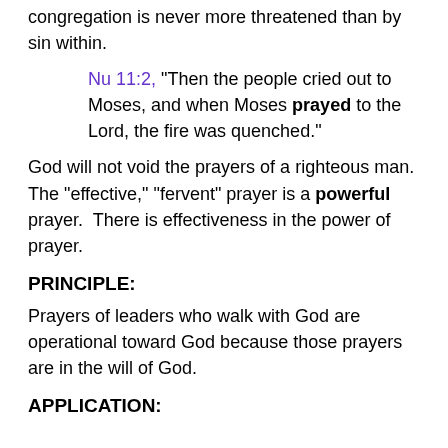congregation is never more threatened than by sin within.
Nu 11:2, “Then the people cried out to Moses, and when Moses prayed to the Lord, the fire was quenched.”
God will not void the prayers of a righteous man. The “effective,” “fervent” prayer is a powerful prayer. There is effectiveness in the power of prayer.
PRINCIPLE:
Prayers of leaders who walk with God are operational toward God because those prayers are in the will of God.
APPLICATION: